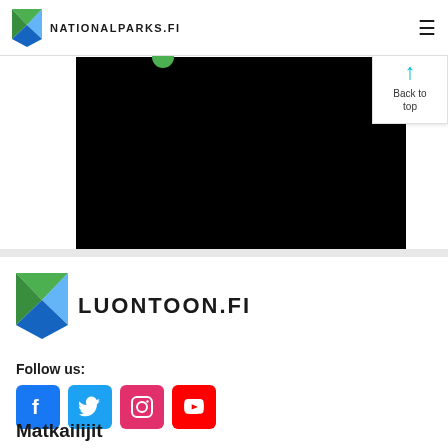NATIONALPARKS.FI
[Figure (screenshot): Black video/media player area with a small green circle at top]
[Figure (logo): Luontoon.fi logo with triangular geometric mark in green and blue]
Follow us:
[Figure (infographic): Social media icons: Facebook (blue), Twitter (light blue), Instagram (pink/magenta), YouTube (red)]
Matkailijit